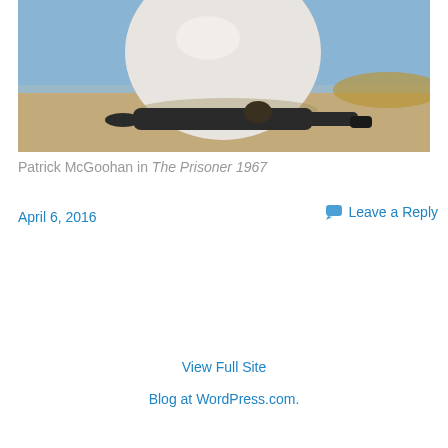[Figure (photo): A man in dark clothing lying on a sandy beach, being engulfed by a large white spherical balloon. Blue sky in the background.]
Patrick McGoohan in The Prisoner 1967
April 6, 2016
Leave a Reply
View Full Site
Blog at WordPress.com.